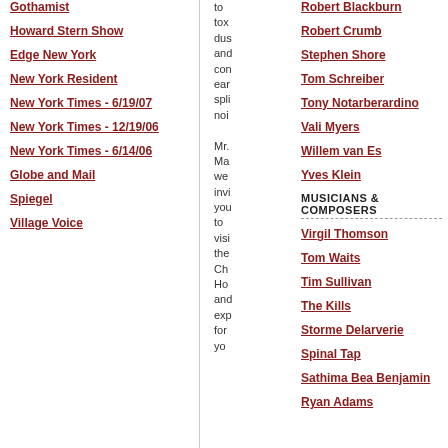Gothamist
Howard Stern Show
Edge New York
New York Resident
New York Times - 6/19/07
New York Times - 12/19/06
New York Times - 6/14/06
Globe and Mail
Spiegel
Village Voice
to tox dus and con ear spli noi Mr. Ma we invi you to visi the Ch Ho and exp for yo...
Robert Blackburn
Robert Crumb
Stephen Shore
Tom Schreiber
Tony Notarberardino
Vali Myers
Willem van Es
Yves Klein
MUSICIANS & COMPOSERS
Virgil Thomson
Tom Waits
Tim Sullivan
The Kills
Storme Delarverie
Spinal Tap
Sathima Bea Benjamin
Ryan Adams